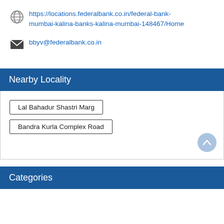https://locations.federalbank.co.in/federal-bank-mumbai-kalina-banks-kalina-mumbai-148467/Home
bbyv@federalbank.co.in
Nearby Locality
Lal Bahadur Shastri Marg
Bandra Kurla Complex Road
Categories